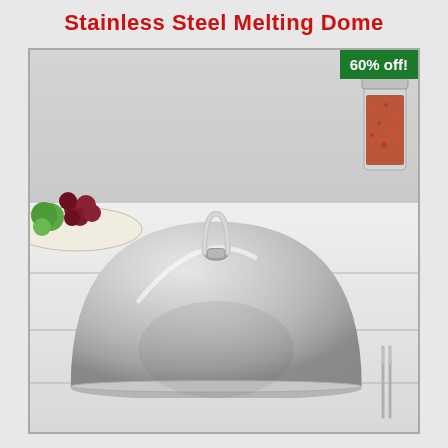Stainless Steel Melting Dome
[Figure (photo): Product photo of a stainless steel melting dome with a ring handle, placed on a white wooden table surface. On the left side is a plate with grapes and green/red fruits. On the right side is a glass jar filled with red spices/chili flakes and a metal fork. A green badge in the top-right corner reads '60% off!'.]